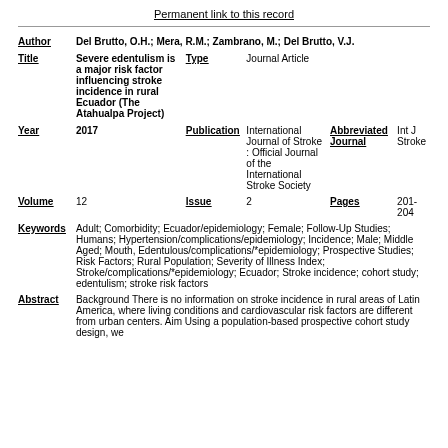Permanent link to this record
| Author | Del Brutto, O.H.; Mera, R.M.; Zambrano, M.; Del Brutto, V.J. |
| Title | Severe edentulism is a major risk factor influencing stroke incidence in rural Ecuador (The Atahualpa Project) | Type | Journal Article |
| Year | 2017 | Publication | International Journal of Stroke : Official Journal of the International Stroke Society | Abbreviated Journal | Int J Stroke |
| Volume | 12 | Issue | 2 | Pages | 201-204 |
| Keywords | Adult; Comorbidity; Ecuador/epidemiology; Female; Follow-Up Studies; Humans; Hypertension/complications/epidemiology; Incidence; Male; Middle Aged; Mouth, Edentulous/complications/*epidemiology; Prospective Studies; Risk Factors; Rural Population; Severity of Illness Index; Stroke/complications/*epidemiology; Ecuador; Stroke incidence; cohort study; edentulism; stroke risk factors |
| Abstract | Background There is no information on stroke incidence in rural areas of Latin America, where living conditions and cardiovascular risk factors are different from urban centers. Aim Using a population-based prospective cohort study design, we |